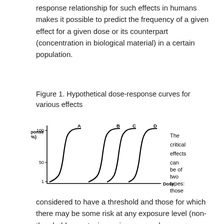response relationship for such effects in humans makes it possible to predict the frequency of a given effect for a given dose or its counterpart (concentration in biological material) in a certain population.
Figure 1. Hypothetical dose-response curves for various effects
[Figure (continuous-plot): Hypothetical dose-response curves for four effects labeled A, B, C, and D. The y-axis is labeled Response (%) with tick marks at 1, 50, and 100. The x-axis is labeled Dose. Each curve is a sigmoid (S-shaped) curve rising from 1% to 100%, with curve A starting at the lowest dose and curves B, C, D starting at progressively higher doses. To the right of the chart, text reads: The critical effects can be of two types: those]
considered to have a threshold and those for which there may be some risk at any exposure level (non-threshold, genotoxic carcinogens and germ mutagens). Whenever possible,